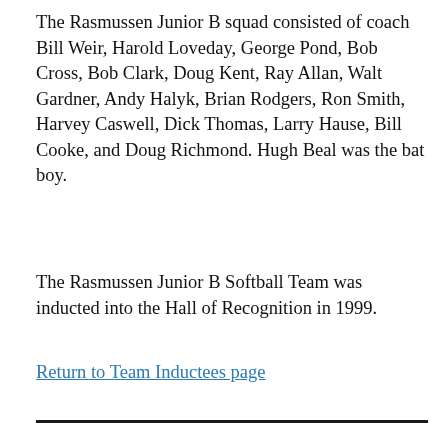The Rasmussen Junior B squad consisted of coach Bill Weir, Harold Loveday, George Pond, Bob Cross, Bob Clark, Doug Kent, Ray Allan, Walt Gardner, Andy Halyk, Brian Rodgers, Ron Smith, Harvey Caswell, Dick Thomas, Larry Hause, Bill Cooke, and Doug Richmond. Hugh Beal was the bat boy.
The Rasmussen Junior B Softball Team was inducted into the Hall of Recognition in 1999.
Return to Team Inductees page